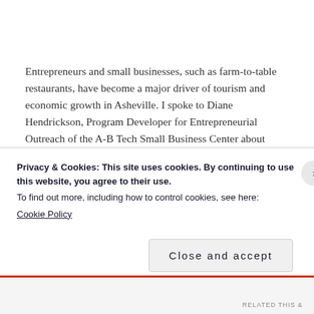Entrepreneurs and small businesses, such as farm-to-table restaurants, have become a major driver of tourism and economic growth in Asheville. I spoke to Diane Hendrickson, Program Developer for Entrepreneurial Outreach of the A-B Tech Small Business Center about small businesses in Asheville and she declared that, “Asheville [residence are] very interested in supporting products, goods, services and business folk that live in the
Privacy & Cookies: This site uses cookies. By continuing to use this website, you agree to their use.
To find out more, including how to control cookies, see here:
Cookie Policy
Close and accept